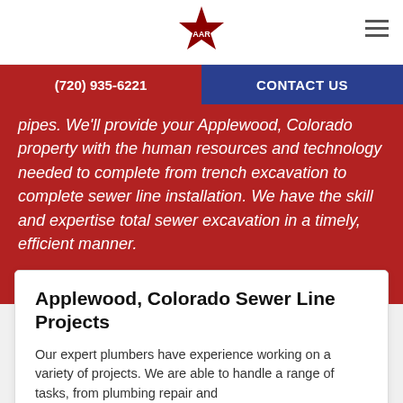AAR logo | (720) 935-6221 | CONTACT US
pipes. We'll provide your Applewood, Colorado property with the human resources and technology needed to complete from trench excavation to complete sewer line installation. We have the skill and expertise total sewer excavation in a timely, efficient manner.
Applewood, Colorado Sewer Line Projects
Our expert plumbers have experience working on a variety of projects. We are able to handle a range of tasks, from plumbing repair and